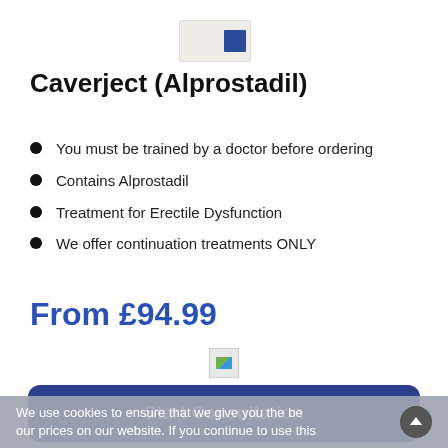[Figure (photo): Product image of Caverject (Alprostadil) medication box, partially cropped at top, showing white box with blue label]
Caverject (Alprostadil)
You must be trained by a doctor before ordering
Contains Alprostadil
Treatment for Erectile Dysfunction
We offer continuation treatments ONLY
From £94.99
[Figure (logo): Small trust/verified badge icon]
Start Consultation
We use cookies to ensure that we give you the be our prices on our website. If you continue to use this